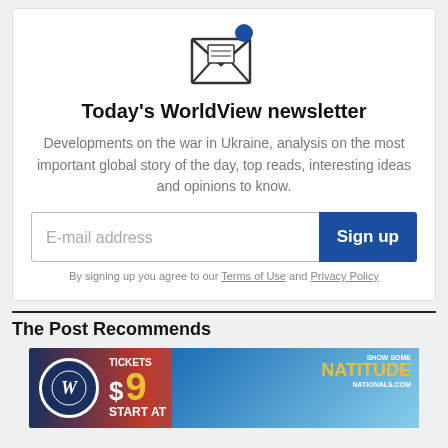[Figure (illustration): Envelope icon with a blue notification dot, open envelope showing a letter inside]
Today's WorldView newsletter
Developments on the war in Ukraine, analysis on the most important global story of the day, top reads, interesting ideas and opinions to know.
E-mail address [input field] Sign up [button]
By signing up you agree to our Terms of Use and Privacy Policy
The Post Recommends
[Figure (photo): Washington Nationals advertisement: Tickets Start at $9, Show Some Natitude, nationals.com, with Nationals logo and fans]